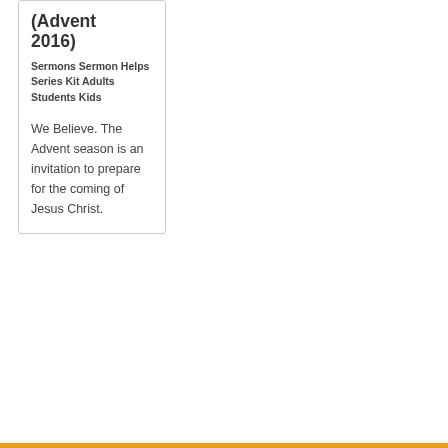(Advent 2016)
Sermons Sermon Helps Series Kit Adults Students Kids
We Believe. The Advent season is an invitation to prepare for the coming of Jesus Christ.